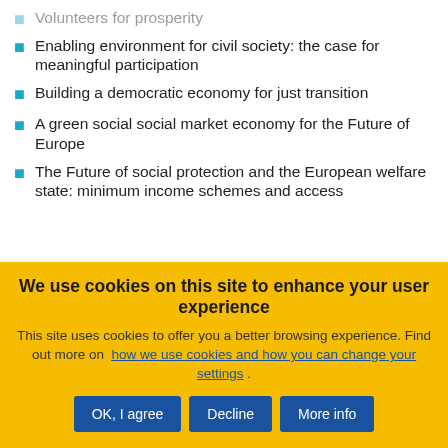Volunteers for prosperity
Enabling environment for civil society: the case for meaningful participation
Building a democratic economy for just transition
A green social social market economy for the Future of Europe
The Future of social protection and the European welfare state: minimum income schemes and access
We use cookies on this site to enhance your user experience
This site uses cookies to offer you a better browsing experience. Find out more on how we use cookies and how you can change your settings .